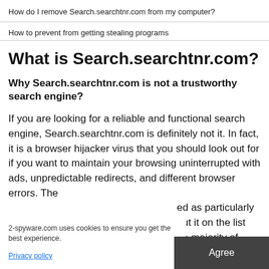How do I remove Search.searchtnr.com from my computer?
How to prevent from getting stealing programs
What is Search.searchtnr.com?
Why Search.searchtnr.com is not a trustworthy search engine?
If you are looking for a reliable and functional search engine, Search.searchtnr.com is definitely not it. In fact, it is a browser hijacker virus that you should look out for if you want to maintain your browsing uninterrupted with ads, unpredictable redirects, and different browser errors. The ...ed as particularly ...put it on the list ...he majority of ...omputers
2-spyware.com uses cookies to ensure you get the best experience.
Privacy policy
Agree